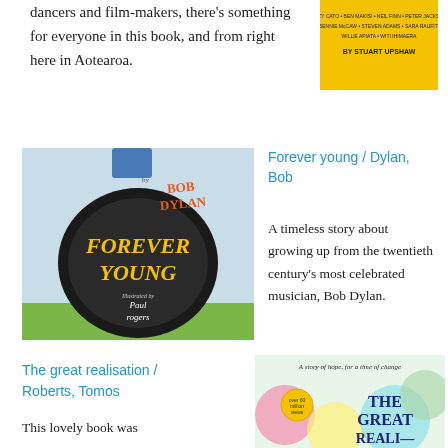dancers and film-makers, there's something for everyone in this book, and from right here in Aotearoa.
[Figure (illustration): Book cover with yellow background, text listing multiple contributors, 'BY STUART UPSHAW']
[Figure (illustration): Book cover: 'Forever Young' by Bob Dylan, illustrated by Paul Rogers. Shows a guitar case silhouette with colorful retro text.]
Forever young / Dylan, Bob
A timeless story about growing up from the twentieth century's most celebrated musician, Bob Dylan.
The great realisation / Roberts, Tomos
This lovely book was
[Figure (illustration): Book cover: 'The Great Realisation' with colorful flower shapes, subtitle 'A story of hope, for a time of change', over 60 million views badge.]